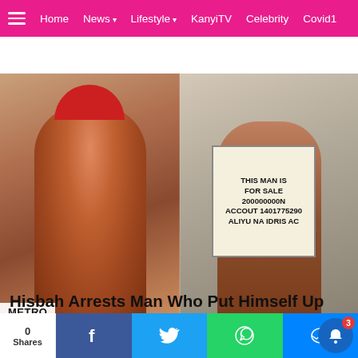≡  Home  News ▾  Lifestyle ▾  KanyiTV  Celebrity  Covid1
[Figure (photo): Two-panel photo: left shows a young man in a red cap and red jersey; right shows the same man standing outdoors holding a cardboard sign reading 'THIS MAN IS FOR SALE 200000000N ACCOUT 1401775290 ALIYU NA IDRIS AC'. A 'METRO' label appears at the bottom-left of the image.]
Hisbah Arrests Man Who Put Himself Up For Sale For N20M Due To Poverty In Kano
Anambra Lawmaker, Nnamdi Okafor Slumps
49 minutes ago
Shares  [Facebook]  [Twitter]  [WhatsApp]  [Messenger]